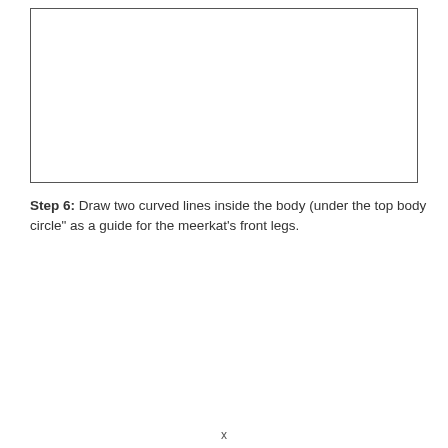[Figure (illustration): A blank white rectangular box serving as a drawing area for a step-by-step meerkat drawing tutorial, step 6.]
Step 6: Draw two curved lines inside the body (under the top body circle" as a guide for the meerkat's front legs.
x